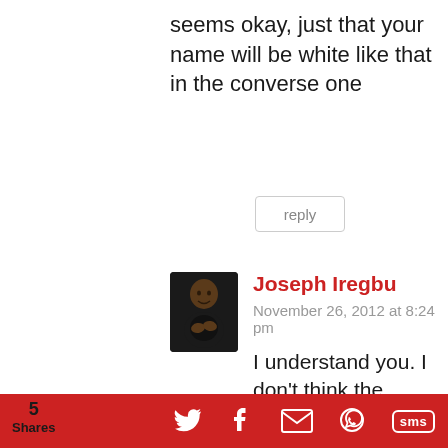seems okay, just that your name will be white like that in the converse one
reply
Joseph Iregbu
November 26, 2012 at 8:24 pm
[Figure (photo): Avatar photo of Joseph Iregbu, a man in a dark shirt with hands clasped]
I understand you. I don't think the name placement under the boat would work. I think it's best to leave the water untouched
[Figure (infographic): Share bar with 5 Shares count and social icons: Twitter, Facebook, Email, WhatsApp, SMS]